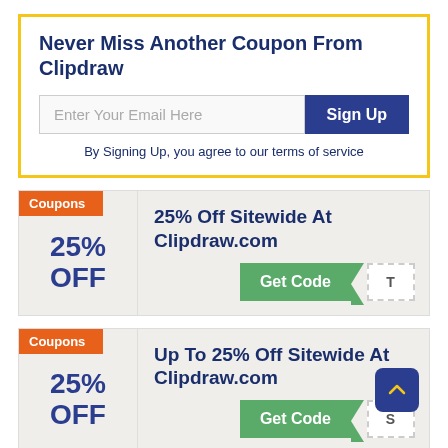Never Miss Another Coupon From Clipdraw
Enter Your Email Here
Sign Up
By Signing Up, you agree to our terms of service
Coupons
25% OFF
25% Off Sitewide At Clipdraw.com
Get Code
Coupons
25% OFF
Up To 25% Off Sitewide At Clipdraw.com
Get Code